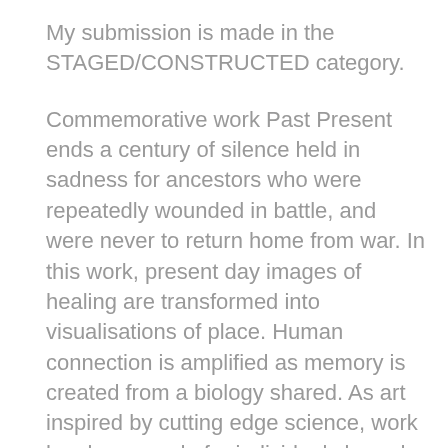My submission is made in the STAGED/CONSTRUCTED category.
Commemorative work Past Present ends a century of silence held in sadness for ancestors who were repeatedly wounded in battle, and were never to return home from war. In this work, present day images of healing are transformed into visualisations of place. Human connection is amplified as memory is created from a biology shared. As art inspired by cutting edge science, work has been made for individuals bound by the mother line gene. Bonds that were missing, now begin to form. Pictures shown are a selection from an artist's book, that also includes poetry and prose with these and vernacular images from a family's past. The book was originally created as part of a Falmouth Flexible MA Photography